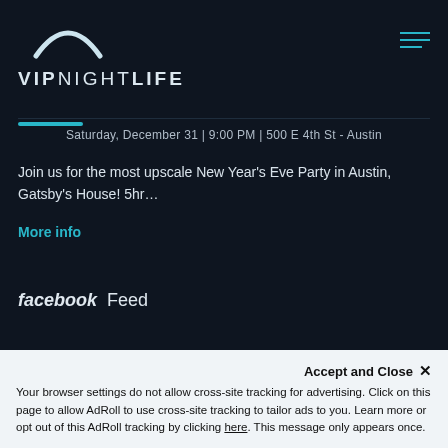[Figure (logo): VIP Nightlife logo with crescent moon arc above text VIPNIGHTLIFE in white/light blue on dark background]
Saturday, December 31 | 9:00 PM | 500 E 4th St - Austin
Join us for the most upscale New Year's Eve Party in Austin, Gatsby's House! 5hr…
More info
facebook Feed
Accept and Close ✕
Your browser settings do not allow cross-site tracking for advertising. Click on this page to allow AdRoll to use cross-site tracking to tailor ads to you. Learn more or opt out of this AdRoll tracking by clicking here. This message only appears once.